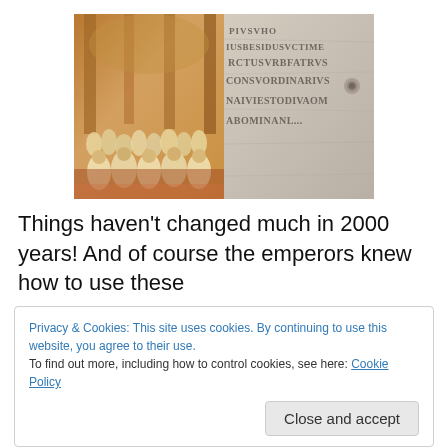[Figure (photo): Composite image: left half shows a painting of Roman senators in white togas in an ornate hall; right half shows a carved stone inscription with Latin text including letters ABOMINAN...]
Things haven't changed much in 2000 years! And of course the emperors knew how to use these
Privacy & Cookies: This site uses cookies. By continuing to use this website, you agree to their use.
To find out more, including how to control cookies, see here: Cookie Policy
Close and accept
A week later, the disciples were again hiding behind